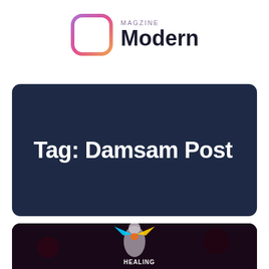[Figure (logo): Modern Magazine logo: a rounded square icon with gradient border (purple top-left to orange/pink bottom-right) and white interior, next to text 'MAGZINE' in small gray caps above 'Modern' in large dark sans-serif]
[Figure (other): Dark navy blue rounded rectangle banner with bold white text 'Tag: Damsam Post']
[Figure (photo): Dark background image partially visible at bottom, showing a person with colorful bird/wings and text 'HEALING' visible]